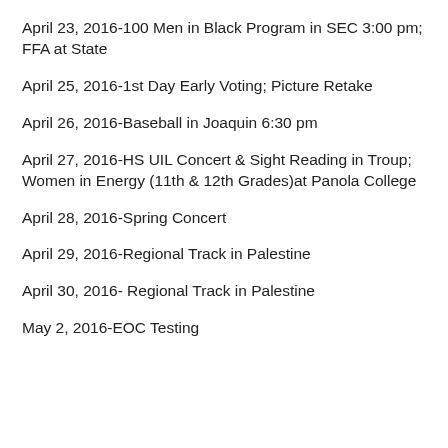April 23, 2016-100 Men in Black Program in SEC 3:00 pm; FFA at State
April 25, 2016-1st Day Early Voting; Picture Retake
April 26, 2016-Baseball in Joaquin 6:30 pm
April 27, 2016-HS UIL Concert & Sight Reading in Troup; Women in Energy (11th & 12th Grades)at Panola College
April 28, 2016-Spring Concert
April 29, 2016-Regional Track in Palestine
April 30, 2016- Regional Track in Palestine
May 2, 2016-EOC Testing